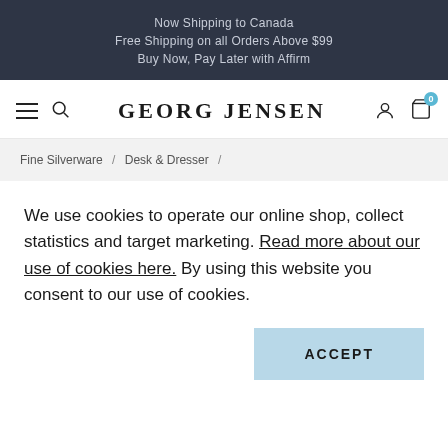Now Shipping to Canada
Free Shipping on all Orders Above $99
Buy Now, Pay Later with Affirm
[Figure (logo): Georg Jensen logo with navigation icons: hamburger menu, search, user account, and shopping cart with badge showing 0]
Fine Silverware / Desk & Dresser /
We use cookies to operate our online shop, collect statistics and target marketing. Read more about our use of cookies here. By using this website you consent to our use of cookies.
ACCEPT